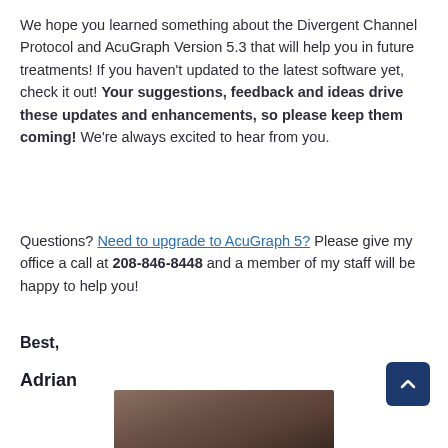We hope you learned something about the Divergent Channel Protocol and AcuGraph Version 5.3 that will help you in future treatments! If you haven't updated to the latest software yet, check it out! Your suggestions, feedback and ideas drive these updates and enhancements, so please keep them coming! We're always excited to hear from you.
Questions? Need to upgrade to AcuGraph 5? Please give my office a call at 208-846-8448 and a member of my staff will be happy to help you!
Best,
Adrian
[Figure (photo): Portrait photo of Adrian, partially visible at bottom of page]